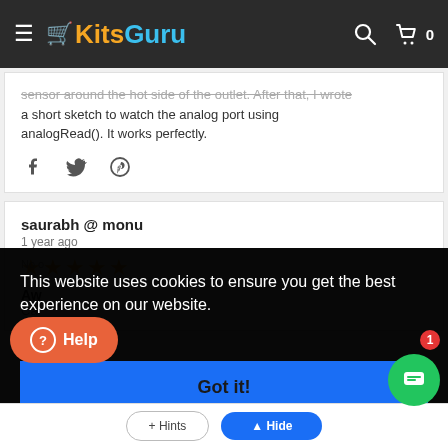KitsGuru
sensor around the hot side of the outlet. After that, I wrote a short sketch to watch the analog port using analogRead(). It works perfectly.
saurabh @ monu
1 year ago
★★★★★
Aw[esome]
Ca[n't wait]
This website uses cookies to ensure you get the best experience on our website.
Learn more
Got it!